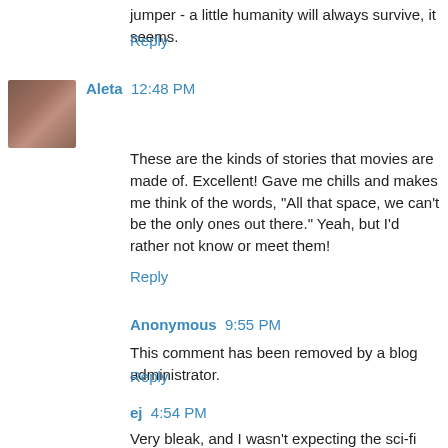jumper - a little humanity will always survive, it seems.
Reply
Aleta  12:48 PM
These are the kinds of stories that movies are made of. Excellent! Gave me chills and makes me think of the words, "All that space, we can't be the only ones out there." Yeah, but I'd rather not know or meet them!
Reply
Anonymous  9:55 PM
This comment has been removed by a blog administrator.
Reply
ej  4:54 PM
Very bleak, and I wasn't expecting the sci-fi twist. It's great that you used a #storystarter as a story ending. I really